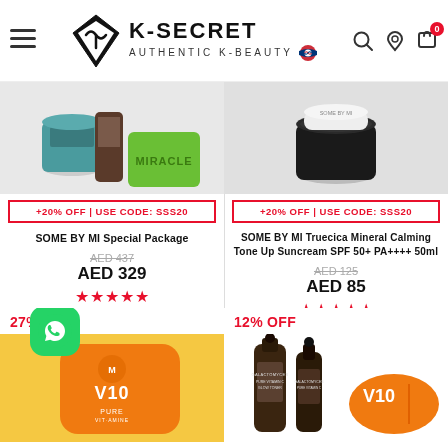K-SECRET AUTHENTIC K-BEAUTY
[Figure (screenshot): Left product image: SOME BY MI Special Package - skincare items with green Miracle soap bar]
+20% OFF | USE CODE: SSS20
SOME BY MI Special Package
AED 437
AED 329
[Figure (other): 5 pink stars rating]
[Figure (screenshot): Right product image: SOME BY MI Truecica Mineral Calming Tone Up Suncream - black jar]
+20% OFF | USE CODE: SSS20
SOME BY MI Truecica Mineral Calming Tone Up Suncream SPF 50+ PA++++ 50ml
AED 125
AED 85
[Figure (other): 5 pink stars rating]
27% OFF
[Figure (photo): Bottom left: orange/yellow vitamin C skincare products with V10 branding, WhatsApp icon overlay]
12% OFF
[Figure (photo): Bottom right: Galactomyces Pure Vitamin C Glow Toner dark bottles and orange V10 pill-shaped product]